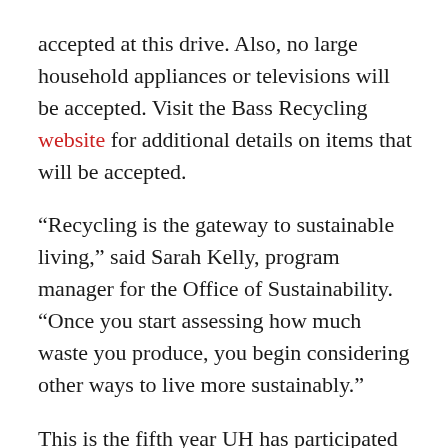accepted at this drive. Also, no large household appliances or televisions will be accepted. Visit the Bass Recycling website for additional details on items that will be accepted.
“Recycling is the gateway to sustainable living,” said Sarah Kelly, program manager for the Office of Sustainability. “Once you start assessing how much waste you produce, you begin considering other ways to live more sustainably.”
This is the fifth year UH has participated in Recyclemania. UH is participating in several categories of the competition: Grand Champion, Per Capita Classic, Gorilla Prize and Targeted Materials (cardboard, waste minimization). More details on how the campus community can contribute to the